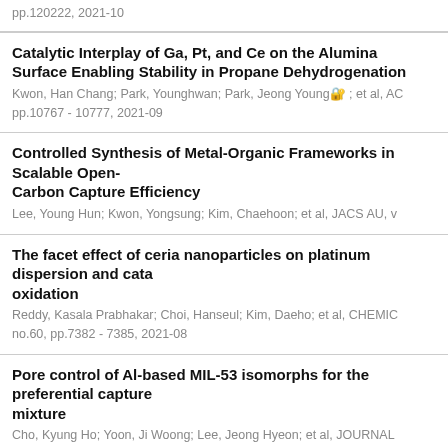pp.120222, 2021-10
Catalytic Interplay of Ga, Pt, and Ce on the Alumina Surface Enabling Stability in Propane Dehydrogenation
Kwon, Han Chang; Park, Younghwan; Park, Jeong Young; et al, ACS...
pp.10767 - 10777, 2021-09
Controlled Synthesis of Metal-Organic Frameworks in Scalable Open-... Carbon Capture Efficiency
Lee, Young Hun; Kwon, Yongsung; Kim, Chaehoon; et al, JACS AU, v...
The facet effect of ceria nanoparticles on platinum dispersion and cata... oxidation
Reddy, Kasala Prabhakar; Choi, Hanseul; Kim, Daeho; et al, CHEMIC...
no.60, pp.7382 - 7385, 2021-08
Pore control of Al-based MIL-53 isomorphs for the preferential capture... mixture
Cho, Kyung Ho; Yoon, Ji Woong; Lee, Jeong Hyeon; et al, JOURNAL...
v.9, no.25, pp.14593 - 14600, 2021-07
Operation of bio-aviation fuel manufacturing facility via hydroprocesse... and optimization of fuel property for turbine engine test
Han, Si Bum; et al, JOURNAL...